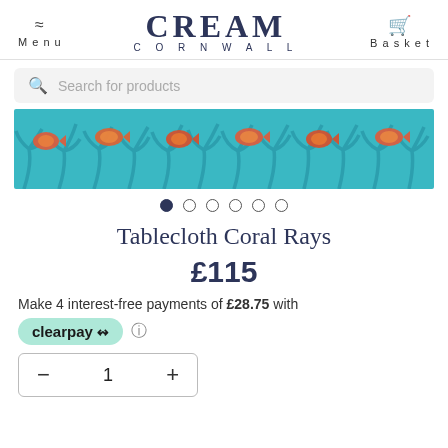Menu | CREAM CORNWALL | Basket
Search for products
[Figure (photo): Coral Rays tablecloth fabric pattern showing teal/turquoise coral branches with orange and red tropical fish and coral elements on a light blue background]
Tablecloth Coral Rays
£115
Make 4 interest-free payments of £28.75 with clearpay